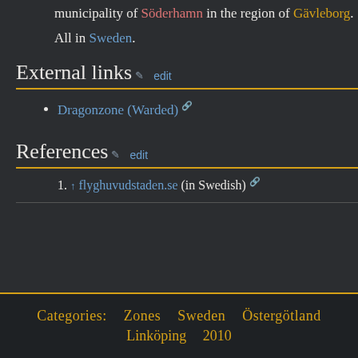municipality of Söderhamn in the region of Gävleborg.
All in Sweden.
External links  edit
Dragonzone (Warded) [external link]
References  edit
1. ↑ flyghuvudstaden.se (in Swedish) [external link]
Categories: Zones  Sweden  Östergötland  Linköping  2010